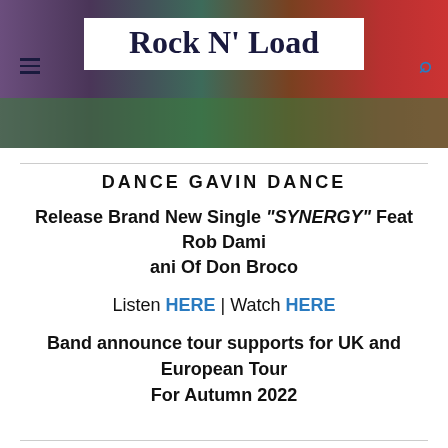[Figure (photo): Header background photo showing people around a casino table with colorful clothing. Rock N' Load logo in white box overlaid on top.]
DANCE GAVIN DANCE
Release Brand New Single "SYNERGY" Feat Rob Damiani Of Don Broco
Listen HERE | Watch HERE
Band announce tour supports for UK and European Tour
For Autumn 2022